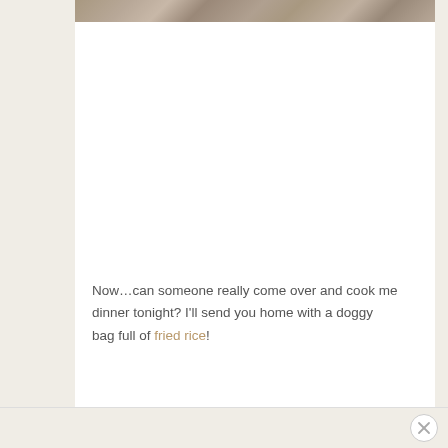[Figure (photo): Partial photo of a wooden surface or food item, cropped at top, showing a textured brownish-gray surface]
Now…can someone really come over and cook me dinner tonight? I'll send you home with a doggy bag full of fried rice!